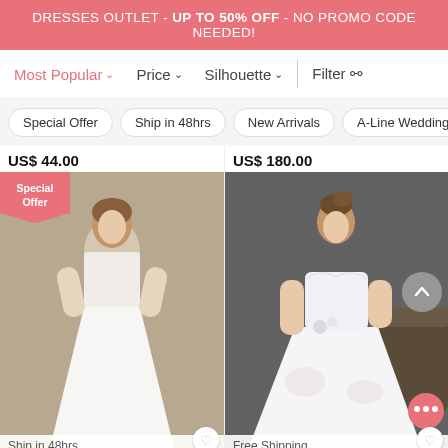DRESSES OUTLET - UP TO 50% OFF - NO PROMO CODE NEEDED!
Most Popular  Price  Silhouette  Filter
Special Offer
Ship in 48hrs
New Arrivals
A-Line Wedding Dre...
US$ 44.00
US$ 180.00
[Figure (photo): White tea-length wedding dress with lace sleeves on model, with Special Offer badge. Bottom label: Ship in 48hrs]
[Figure (photo): White ball gown wedding dress on model against dark background. Bottom label: Free Shipping]